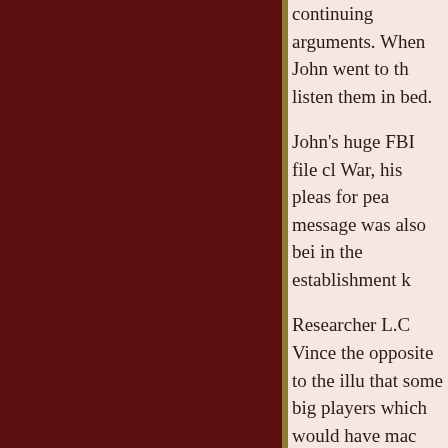continuing arguments. When John went to th listen them in bed.
John's huge FBI file cl War, his pleas for pea message was also bei in the establishment k
Researcher L.C Vince the opposite to the ilu that some big players which would have mac
That was another reas
Ther [Scroll to Top] he was simply there to